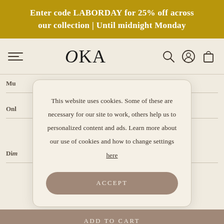Enter code LABORDAY for 25% off across our collection | Until midnight Monday
[Figure (screenshot): OKA website navigation bar with hamburger menu, OKA logo, search icon, account icon, and cart icon]
This website uses cookies. Some of these are necessary for our site to work, others help us to personalized content and ads. Learn more about our use of cookies and how to change settings here
ADD TO CART